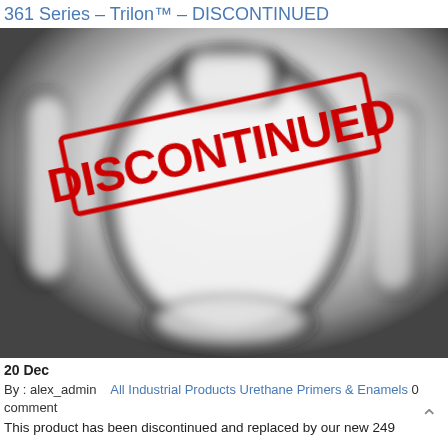361 Series – Trilon™ – DISCONTINUED
[Figure (photo): Blurred black and white product image (thumbs-up jar silhouette) with a red DISCONTINUED stamp overlay rotated diagonally]
20 Dec
By : alex_admin   All Industrial Products Urethane Primers & Enamels 0 comment
This product has been discontinued and replaced by our new 249